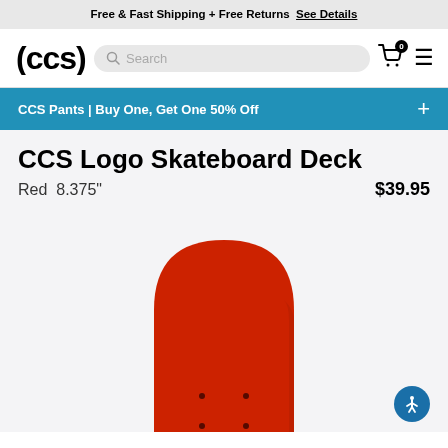Free & Fast Shipping + Free Returns  See Details
[Figure (logo): CCS logo: stylized text (ccs) in bold black font]
CCS Pants | Buy One, Get One 50% Off
CCS Logo Skateboard Deck
Red  8.375"  $39.95
[Figure (photo): Red CCS Logo Skateboard Deck shown from above on a light grey background. The deck is red with a rounded nose, showing four bolt holes in the truck mounting areas.]